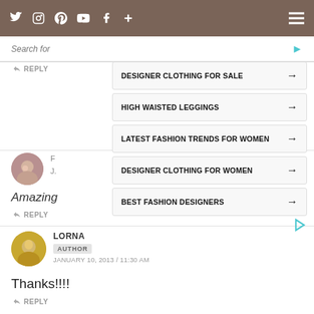Social media icons: Twitter, Instagram, Pinterest, YouTube, Facebook, Plus | Hamburger menu
Search for
REPLY
[Figure (screenshot): Ad overlay with search suggestions: DESIGNER CLOTHING FOR SALE, HIGH WAISTED LEGGINGS, LATEST FASHION TRENDS FOR WOMEN, DESIGNER CLOTHING FOR WOMEN, BEST FASHION DESIGNERS]
F
J.
Amazing
REPLY
LORNA
AUTHOR
JANUARY 10, 2013 / 11:30 AM
Thanks!!!!
REPLY